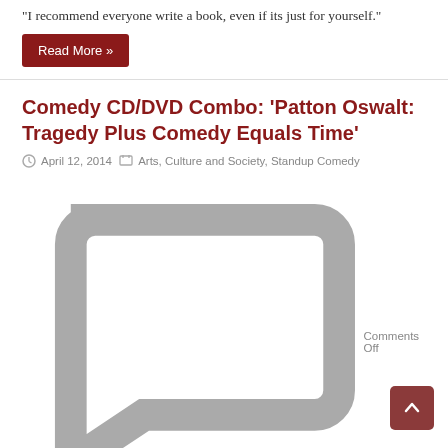"I recommend everyone write a book, even if its just for yourself."
Read More »
Comedy CD/DVD Combo: 'Patton Oswalt: Tragedy Plus Comedy Equals Time'
April 12, 2014  Arts, Culture and Society, Standup Comedy  Comments Off
Patton Oswalt delivers a smart new stand-up set in the uncensored version of his TV special.
Read More »
Comedy CD/DVD Review: Chris D'Elia – 'White Male, Black Comic'
December 12, 2013  Culture and Society, Standup Comedy  Comments Off
Chris D'Elia...